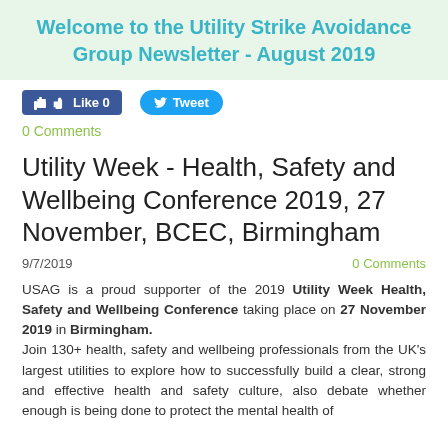Welcome to the Utility Strike Avoidance Group Newsletter - August 2019
[Figure (other): Social media buttons: Like 0 and Tweet]
0 Comments
Utility Week - Health, Safety and Wellbeing Conference 2019, 27 November, BCEC, Birmingham
9/7/2019   0 Comments
USAG is a proud supporter of the 2019 Utility Week Health, Safety and Wellbeing Conference taking place on 27 November 2019 in Birmingham. Join 130+ health, safety and wellbeing professionals from the UK's largest utilities to explore how to successfully build a clear, strong and effective health and safety culture, also debate whether enough is being done to protect the mental health of